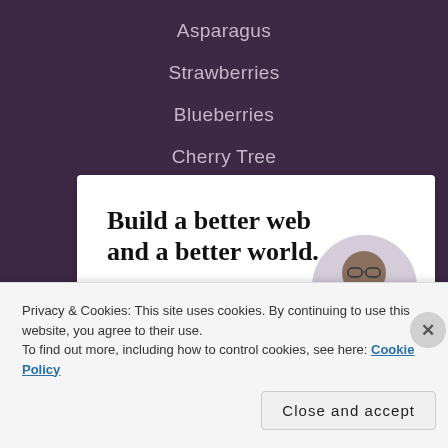Asparagus
Strawberries
Blueberries
Cherry Tree
Build a better web and a better world.
[Figure (illustration): Blue Apply button on white card]
[Figure (photo): Circular cropped photo of a man with glasses thinking]
Privacy & Cookies: This site uses cookies. By continuing to use this website, you agree to their use.
To find out more, including how to control cookies, see here: Cookie Policy
Close and accept